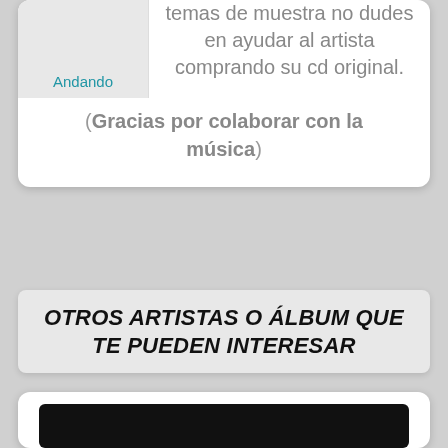temas de muestra no dudes en ayudar al artista comprando su cd original.
(Gracias por colaborar con la música)
Andando
OTROS ARTISTAS O ÁLBUM QUE TE PUEDEN INTERESAR
[Figure (other): Black bar / button element at bottom of page]